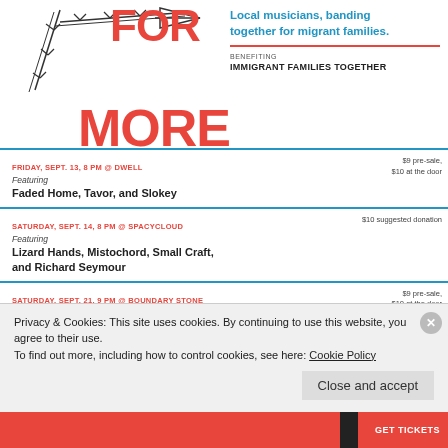FOR MORE
Local musicians, banding together for migrant families.
BENEFITING
IMMIGRANT FAMILIES TOGETHER
FRIDAY, SEPT. 13, 8 PM @ DWELL
Featuring
Faded Home, Tavor, and Slokey
$9 pre-sale, $10 at the door
SATURDAY, SEPT. 14, 8 PM @ sPACYcLOUd
Featuring
Lizard Hands, Mistochord, Small Craft, and Richard Seymour
$10 suggested donation
SATURDAY, SEPT. 21, 9 PM @ BOUNDARY STONE
Featuring
The Ambient Eye, dawnathan, Trash Boat and the Ambush, and MidMountain
$9 pre-sale, $10 at the door
THURSDAY, SEPT. 26, 8 PM @ THE DEW DROP INN
Featuring
A Measured Response, Ethan Andrew
$9 pre-sale, $10 at the door
Privacy & Cookies: This site uses cookies. By continuing to use this website, you agree to their use.
To find out more, including how to control cookies, see here: Cookie Policy
Close and accept